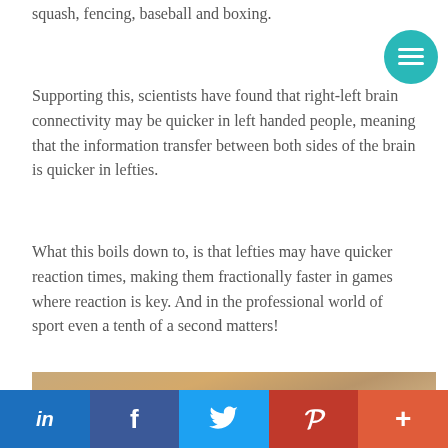squash, fencing, baseball and boxing.
Supporting this, scientists have found that right-left brain connectivity may be quicker in left handed people, meaning that the information transfer between both sides of the brain is quicker in lefties.
What this boils down to, is that lefties may have quicker reaction times, making them fractionally faster in games where reaction is key. And in the professional world of sport even a tenth of a second matters!
[Figure (photo): A hand holding a yellow tennis ball above a clay court surface]
[Figure (infographic): Social sharing bar with LinkedIn, Facebook, Twitter, Pinterest, and a plus/more button]